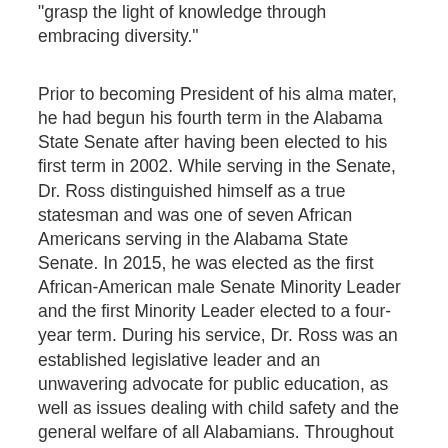"grasp the light of knowledge through embracing diversity."
Prior to becoming President of his alma mater, he had begun his fourth term in the Alabama State Senate after having been elected to his first term in 2002. While serving in the Senate, Dr. Ross distinguished himself as a true statesman and was one of seven African Americans serving in the Alabama State Senate. In 2015, he was elected as the first African-American male Senate Minority Leader and the first Minority Leader elected to a four-year term. During his service, Dr. Ross was an established legislative leader and an unwavering advocate for public education, as well as issues dealing with child safety and the general welfare of all Alabamians. Throughout his legislative tenure, Dr. Ross served on numerous committees, including Bank and Insurance, Confirmation, County and Municipal Government, Transportation